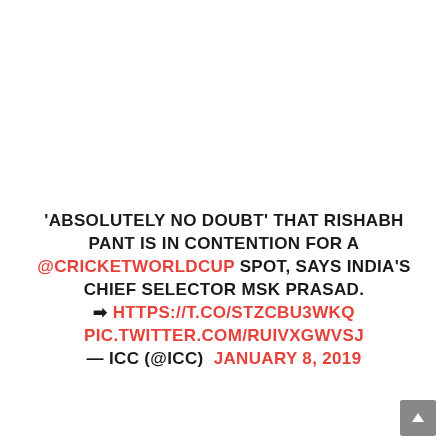'ABSOLUTELY NO DOUBT' THAT RISHABH PANT IS IN CONTENTION FOR A @CRICKETWORLDCUP SPOT, SAYS INDIA'S CHIEF SELECTOR MSK PRASAD. ➡ HTTPS://T.CO/STZCBU3WKQ PIC.TWITTER.COM/RUIVXGWVSJ — ICC (@ICC) JANUARY 8, 2019